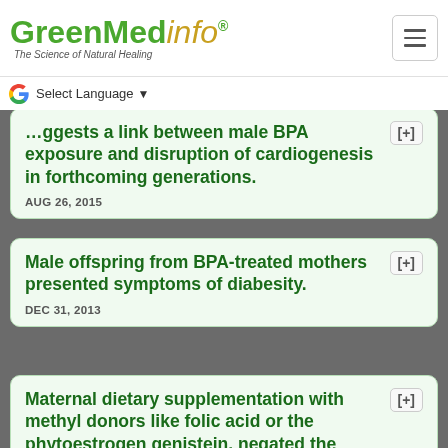GreenMedInfo - The Science of Natural Healing
Select Language
...ggests a link between male BPA exposure and disruption of cardiogenesis in forthcoming generations. AUG 26, 2015
Male offspring from BPA-treated mothers presented symptoms of diabesity. DEC 31, 2013
Maternal dietary supplementation with methyl donors like folic acid or the phytoestrogen genistein, negated the DNA hypomethylating effect of Bisphenol A - Article 2